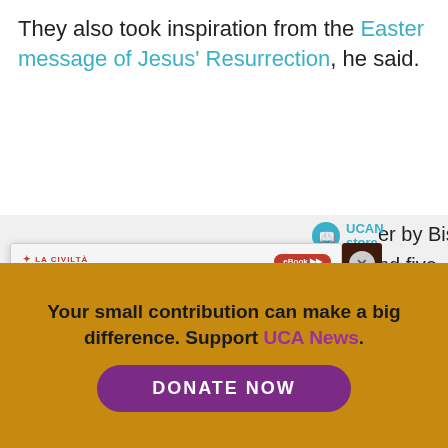They also took inspiration from the Easter message of Jesus' Resurrection, he said.
[Figure (screenshot): A screenshot of a webpage showing an ebook advertisement overlay for 'The Pontificate' by La Civiltà Cattolica, with a UCAN Store logo, a Special Ebook sidebar, and partial article text visible behind the popup.]
Your small contribution can make a big difference. Support UCA News.
DONATE NOW